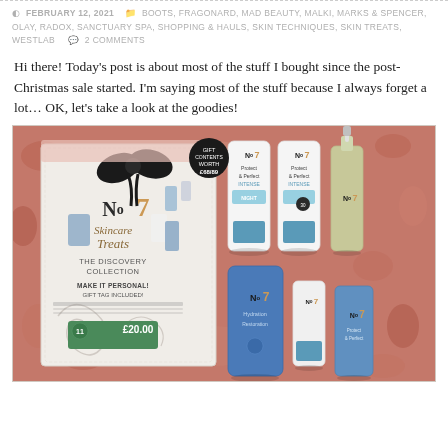FEBRUARY 12, 2021  BOOTS, FRAGONARD, MAD BEAUTY, MALKI, MARKS & SPENCER, OLAY, RADOX, SANCTUARY SPA, SHOPPING & HAULS, SKIN TECHNIQUES, SKIN TREATS, WESTLAB  2 COMMENTS
Hi there! Today's post is about most of the stuff I bought since the post-Christmas sale started. I'm saying most of the stuff because I always forget a lot… OK, let's take a look at the goodies!
[Figure (photo): Photo of No7 Skincare Treats Discovery Collection gift set box with black bow, priced £20.00, alongside several No7 Protect & Perfect skincare products (tubes, serums, moisturisers) laid out on a floral fabric background.]